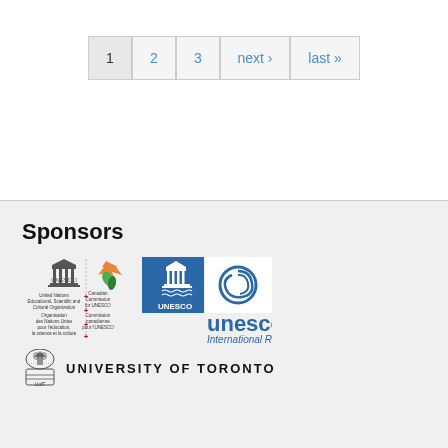Pagination: 1, 2, 3, next, last
Sponsors
[Figure (logo): UNESCO and Canadian Commission for UNESCO combined logo with text in English and French]
[Figure (logo): UNESCO International Register logo with blue square containing UNESCO building icon and circular swirl emblem]
[Figure (logo): University of Toronto logo with crest and text UNIVERSITY OF TORONTO]